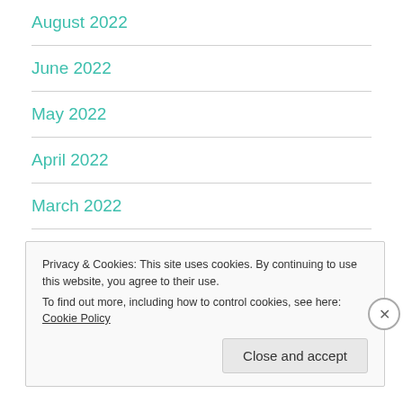August 2022
June 2022
May 2022
April 2022
March 2022
February 2022
Privacy & Cookies: This site uses cookies. By continuing to use this website, you agree to their use.
To find out more, including how to control cookies, see here: Cookie Policy
Close and accept